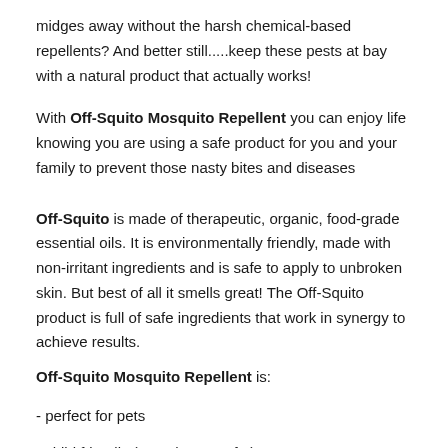midges away without the harsh chemical-based repellents?  And better still.....keep these pests at bay with a natural product that actually works!
With Off-Squito Mosquito Repellent you can enjoy life knowing you are using a safe product for you and your family to prevent those nasty bites and diseases
Off-Squito is made of therapeutic, organic, food-grade essential oils. It is environmentally friendly, made with non-irritant ingredients and is safe to apply to unbroken skin.  But best of all it smells great!  The Off-Squito product is full of safe ingredients that work in synergy to achieve results.
Off-Squito Mosquito Repellent is:
- perfect for pets
- child friendly (over the age of 2)